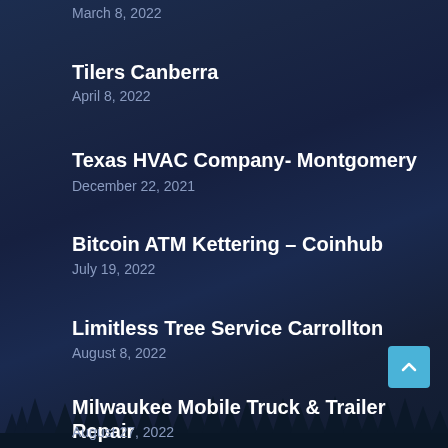March 8, 2022
Tilers Canberra
April 8, 2022
Texas HVAC Company- Montgomery
December 22, 2021
Bitcoin ATM Kettering – Coinhub
July 19, 2022
Limitless Tree Service Carrollton
August 8, 2022
Milwaukee Mobile Truck & Trailer Repair
August 27, 2022